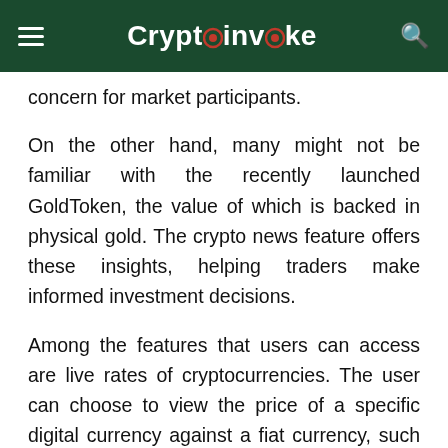Cryptoinvoke
concern for market participants.
On the other hand, many might not be familiar with the recently launched GoldToken, the value of which is backed in physical gold. The crypto news feature offers these insights, helping traders make informed investment decisions.
Among the features that users can access are live rates of cryptocurrencies. The user can choose to view the price of a specific digital currency against a fiat currency, such as BTC/USD, or against another cryptocurrency, such as BTC/ETH. These rates can be seen in real-time for informed trading decisions.